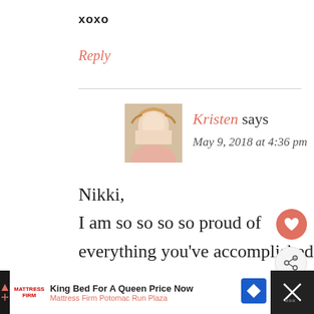xoxo
Reply
Kristen says
May 9, 2018 at 4:36 pm
Nikki,
I am so so so so proud of everything you've accomplished! I seriously don't know how did it but it's incredibly inspiring!
[Figure (other): Advertisement banner: King Bed For A Queen Price Now - Mattress Firm Potomac Run Plaza]